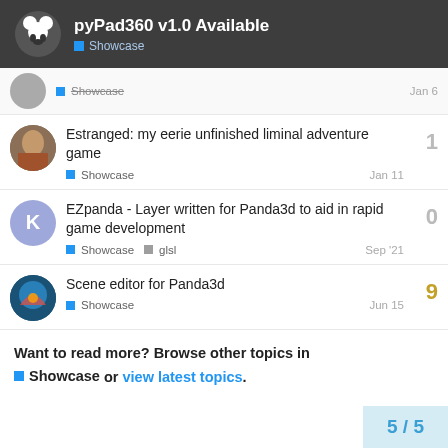pyPad360 v1.0 Available — Showcase
Estranged: my eerie unfinished liminal adventure game — Showcase — Jan 11 — 1 reply
EZpanda - Layer written for Panda3d to aid in rapid game development — Showcase, glsl — Sep '21 — 0 replies
Scene editor for Panda3d — Showcase — Jun 15 — 9 replies
Want to read more? Browse other topics in Showcase or view latest topics.
5 / 5